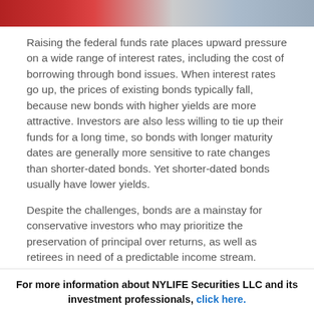[Figure (photo): Partial image at top of page showing red and gray/blue abstract shapes or financial imagery]
Raising the federal funds rate places upward pressure on a wide range of interest rates, including the cost of borrowing through bond issues. When interest rates go up, the prices of existing bonds typically fall, because new bonds with higher yields are more attractive. Investors are also less willing to tie up their funds for a long time, so bonds with longer maturity dates are generally more sensitive to rate changes than shorter-dated bonds. Yet shorter-dated bonds usually have lower yields.
Despite the challenges, bonds are a mainstay for conservative investors who may prioritize the preservation of principal over returns, as well as retirees in need of a predictable income stream.
For more information about NYLIFE Securities LLC and its investment professionals, click here.